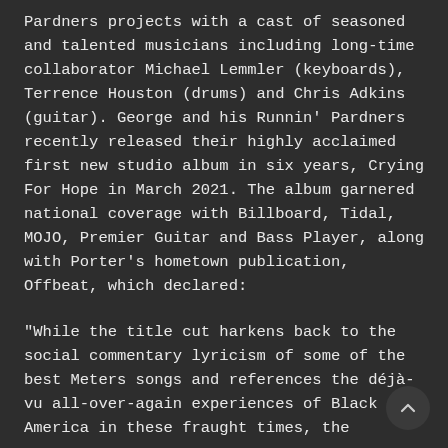Pardners projects with a cast of seasoned and talented musicians including long-time collaborator Michael Lemmler (keyboards), Terrence Houston (drums) and Chris Adkins (guitar). George and his Runnin' Pardners recently released their highly acclaimed first new studio album in six years, Crying For Hope in March 2021. The album garnered national coverage with Billboard, Tidal, MOJO, Premier Guitar and Bass Player, along with Porter's hometown publication, Offbeat, which declared:
“While the title cut harkens back to the social commentary lyricism of some of the best Meters songs and references the déjà-vu all-over-again experiences of Black America in these fraught times, the